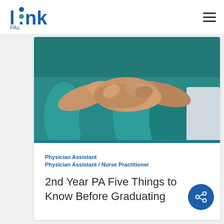[Figure (logo): LinkPAs logo with blue text and dots icon]
[Figure (photo): Group of healthcare workers in teal scrubs putting hands together in a team gesture, one person in white coat visible on right]
Physician Assistant
Physician Assistant / Nurse Practitioner
2nd Year PA Five Things to Know Before Graduating